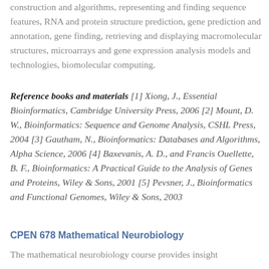construction and algorithms, representing and finding sequence features, RNA and protein structure prediction, gene prediction and annotation, gene finding, retrieving and displaying macromolecular structures, microarrays and gene expression analysis models and technologies, biomolecular computing.
Reference books and materials [1] Xiong, J., Essential Bioinformatics, Cambridge University Press, 2006 [2] Mount, D. W., Bioinformatics: Sequence and Genome Analysis, CSHL Press, 2004 [3] Gautham, N., Bioinformatics: Databases and Algorithms, Alpha Science, 2006 [4] Baxevanis, A. D., and Francis Ouellette, B. F., Bioinformatics: A Practical Guide to the Analysis of Genes and Proteins, Wiley & Sons, 2001 [5] Pevsner, J., Bioinformatics and Functional Genomes, Wiley & Sons, 2003
CPEN 678 Mathematical Neurobiology
The mathematical neurobiology course provides insight